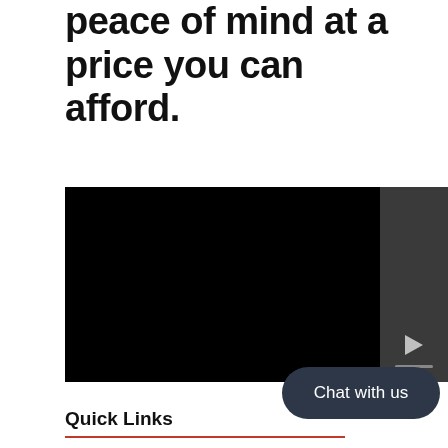peace of mind at a price you can afford.
[Figure (screenshot): Video player with black main panel and dark sidebar showing a play button and progress bar]
Chat with us
Quick Links